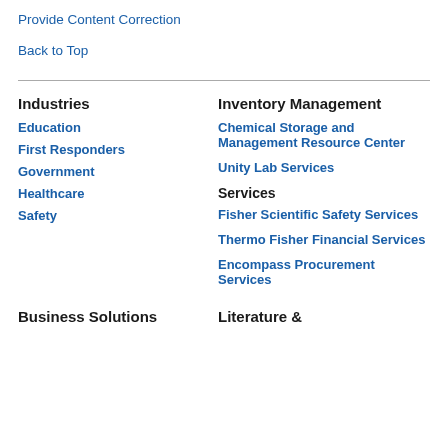Provide Content Correction
Back to Top
Industries
Education
First Responders
Government
Healthcare
Safety
Inventory Management
Chemical Storage and Management Resource Center
Unity Lab Services
Services
Fisher Scientific Safety Services
Thermo Fisher Financial Services
Encompass Procurement Services
Business Solutions
Literature &